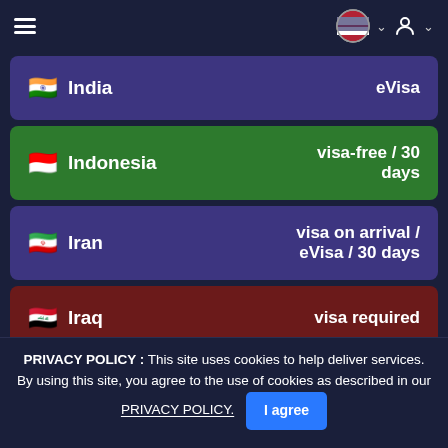Navigation header with hamburger menu and US flag selector
India — eVisa
Indonesia — visa-free / 30 days
Iran — visa on arrival / eVisa / 30 days
Iraq — visa required
Ireland — visa required
PRIVACY POLICY : This site uses cookies to help deliver services. By using this site, you agree to the use of cookies as described in our PRIVACY POLICY.